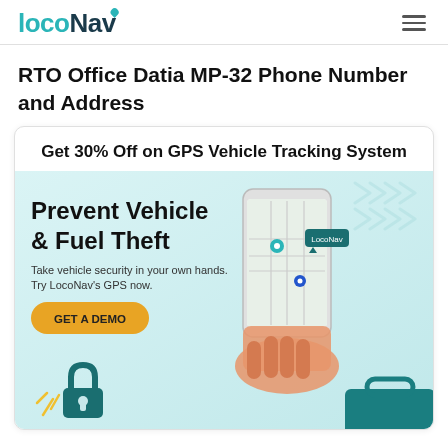LocoNav
RTO Office Datia MP-32 Phone Number and Address
[Figure (infographic): LocoNav advertisement banner: 'Get 30% Off on GPS Vehicle Tracking System'. Shows 'Prevent Vehicle & Fuel Theft' headline with subtext 'Take vehicle security in your own hands. Try LocoNav's GPS now.' and a GET A DEMO button. Illustration of a hand holding a phone with a map, and a padlock at the bottom.]